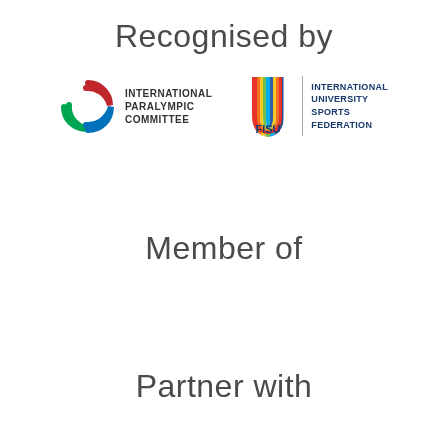Recognised by
[Figure (logo): International Paralympic Committee logo (IPC agitos symbol in red, blue, green) with text INTERNATIONAL PARALYMPIC COMMITTEE]
[Figure (logo): FISU logo (colorful U-shape symbol) with text FISU and INTERNATIONAL UNIVERSITY SPORTS FEDERATION]
Member of
Partner with